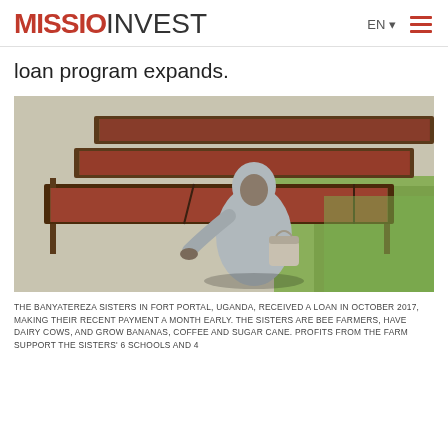MISSIOINVEST | EN ▾ ≡
loan program expands.
[Figure (photo): A nun in a grey habit leaning over wooden drying trays filled with red coffee beans outdoors, with green grass in the background.]
THE BANYATEREZA SISTERS IN FORT PORTAL, UGANDA, RECEIVED A LOAN IN OCTOBER 2017, MAKING THEIR RECENT PAYMENT A MONTH EARLY. THE SISTERS ARE BEE FARMERS, HAVE DAIRY COWS, AND GROW BANANAS, COFFEE AND SUGAR CANE. PROFITS FROM THE FARM SUPPORT THE SISTERS' 6 SCHOOLS AND 4